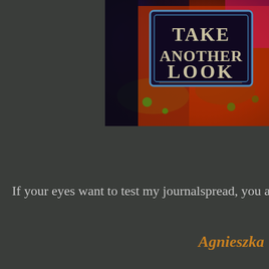[Figure (photo): A colorful graffiti or street art photo showing a weathered surface with bold stylized text reading 'TAKE ANOTHER LOOK' in a decorated rectangular frame. Colors include dark navy/black, vivid reds, oranges, greens and blues with a glittery or metallic texture.]
If your eyes want to test my journalspread, you are w
Agnieszka